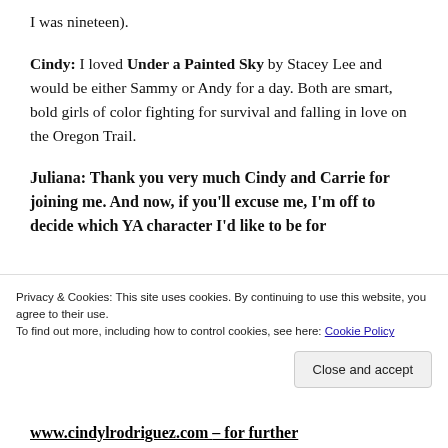I was nineteen).
Cindy: I loved Under a Painted Sky by Stacey Lee and would be either Sammy or Andy for a day. Both are smart, bold girls of color fighting for survival and falling in love on the Oregon Trail.
Juliana: Thank you very much Cindy and Carrie for joining me. And now, if you'll excuse me, I'm off to decide which YA character I'd like to be for
Privacy & Cookies: This site uses cookies. By continuing to use this website, you agree to their use.
To find out more, including how to control cookies, see here: Cookie Policy
www.cindylrodriguez.com – for further